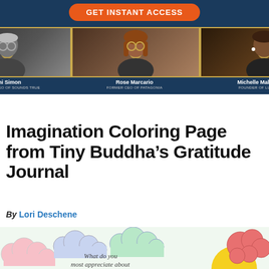[Figure (photo): Advertisement banner with orange 'GET INSTANT ACCESS' button and three speaker headshots: Tami Simon (Founder & CEO of Sounds True), Rose Marcario (Former CEO of Patagonia), Michelle Maldonado (Founder of Lucenscia) on a dark navy background.]
Imagination Coloring Page from Tiny Buddha's Gratitude Journal
By Lori Deschene
[Figure (illustration): Colorful coloring page illustration with pastel clouds (pink, blue, green) and a red tree on the right, with text 'What do you most appreciate about' in handwritten style.]